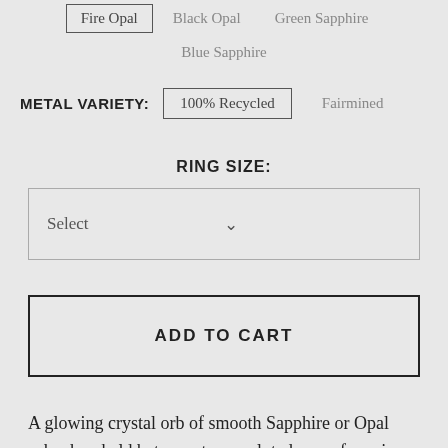Fire Opal  Black Opal  Green Sapphire  Blue Sapphire
METAL VARIETY:  100% Recycled  Fairmined
RING SIZE:
Select
ADD TO CART
A glowing crystal orb of smooth Sapphire or Opal cabochon held between two sculpted arcs of precious metal. Set atop a polished, slightly dripped, organic band this ring is stunning on its own, but